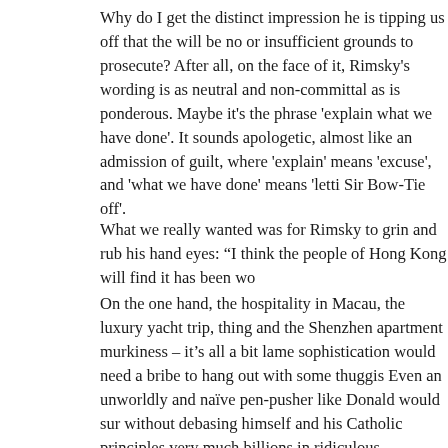Why do I get the distinct impression he is tipping us off that the will be no or insufficient grounds to prosecute? After all, on the face of it, Rimsky's wording is as neutral and non-committal as is ponderous. Maybe it's the phrase 'explain what we have done'. It sounds apologetic, almost like an admission of guilt, where 'explain' means 'excuse', and 'what we have done' means 'letting Sir Bow-Tie off'.
What we really wanted was for Rimsky to grin and rub his hands eyes: "I think the people of Hong Kong will find it has been wo...
On the one hand, the hospitality in Macau, the luxury yacht trip, thing and the Shenzhen apartment murkiness – it's all a bit lame sophistication would need a bribe to hang out with some thuggish Even an unworldly and naïve pen-pusher like Donald would sur without debasing himself and his Catholic principles very much billions in ridiculous infrastructure projects and tilted land and p of the tycoons – essentially transferring vast wealth in the cartel investigators didn't ask that (did they?)